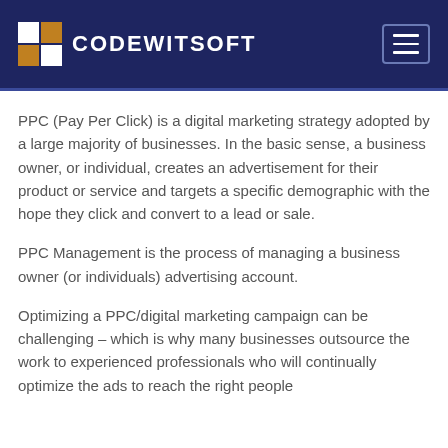CODEWITSOFT
PPC (Pay Per Click) is a digital marketing strategy adopted by a large majority of businesses. In the basic sense, a business owner, or individual, creates an advertisement for their product or service and targets a specific demographic with the hope they click and convert to a lead or sale.
PPC Management is the process of managing a business owner (or individuals) advertising account.
Optimizing a PPC/digital marketing campaign can be challenging – which is why many businesses outsource the work to experienced professionals who will continually optimize the ads to reach the right people